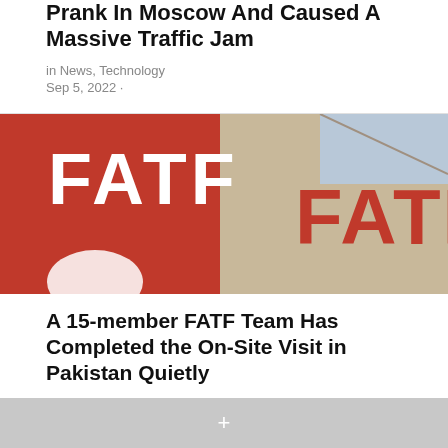Prank In Moscow And Caused A Massive Traffic Jam
in News, Technology
Sep 5, 2022 ·
[Figure (photo): Close-up photo of red FATF signage letters on a building wall]
A 15-member FATF Team Has Completed the On-Site Visit in Pakistan Quietly
in News